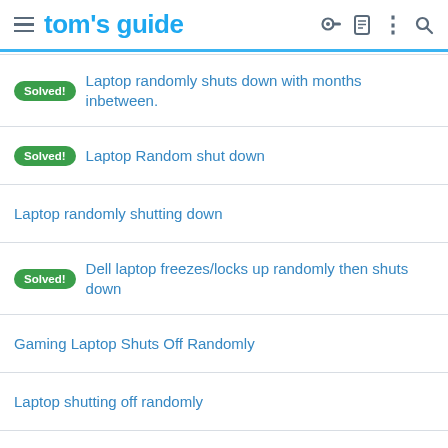tom's guide
Solved! Laptop randomly shuts down with months inbetween.
Solved! Laptop Random shut down
Laptop randomly shutting down
Solved! Dell laptop freezes/locks up randomly then shuts down
Gaming Laptop Shuts Off Randomly
Laptop shutting off randomly